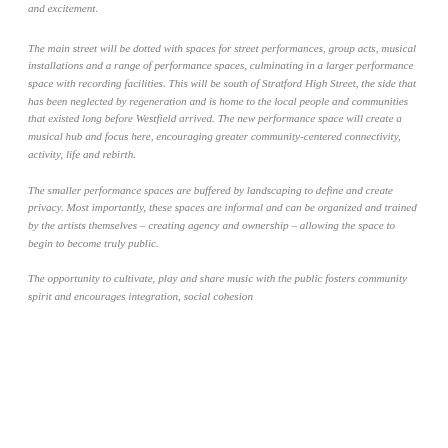and excitement.
The main street will be dotted with spaces for street performances, group acts, musical installations and a range of performance spaces, culminating in a larger performance space with recording facilities. This will be south of Stratford High Street, the side that has been neglected by regeneration and is home to the local people and communities that existed long before Westfield arrived. The new performance space will create a musical hub and focus here, encouraging greater community-centered connectivity, activity, life and rebirth.
The smaller performance spaces are buffered by landscaping to define and create privacy. Most importantly, these spaces are informal and can be organized and trained by the artists themselves – creating agency and ownership – allowing the space to begin to become truly public.
The opportunity to cultivate, play and share music with the public fosters community spirit and encourages integration, social cohesion